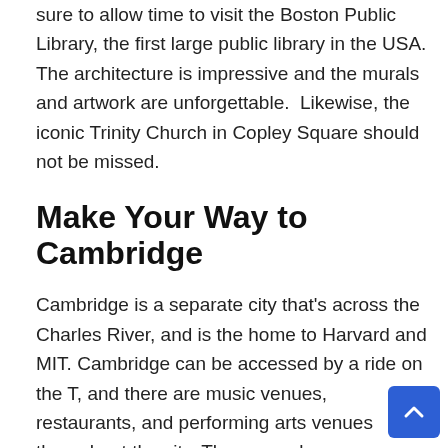sure to allow time to visit the Boston Public Library, the first large public library in the USA. The architecture is impressive and the murals and artwork are unforgettable.  Likewise, the iconic Trinity Church in Copley Square should not be missed.
Make Your Way to Cambridge
Cambridge is a separate city that's across the Charles River, and is the home to Harvard and MIT. Cambridge can be accessed by a ride on the T, and there are music venues, restaurants, and performing arts venues throughout the city. There are also green spaces and museums. As an alternative, you could do a cruise on the